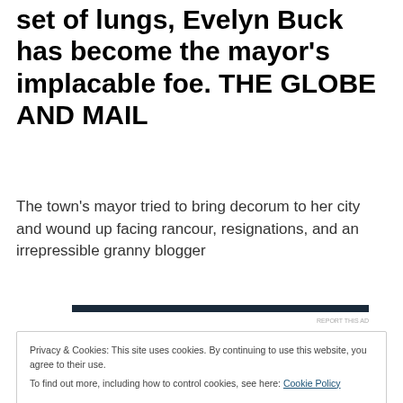set of lungs, Evelyn Buck has become the mayor's implacable foe. THE GLOBE AND MAIL
The town's mayor tried to bring decorum to her city and wound up facing rancour, resignations, and an irrepressible granny blogger
Privacy & Cookies: This site uses cookies. By continuing to use this website, you agree to their use. To find out more, including how to control cookies, see here: Cookie Policy